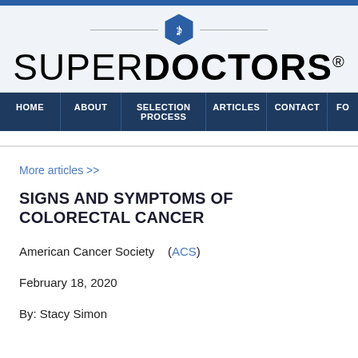[Figure (logo): Super Doctors logo with hexagon medical icon, horizontal lines, and bold text reading SUPER DOCTORS with registered trademark symbol]
HOME | ABOUT | SELECTION PROCESS | ARTICLES | CONTACT | FO...
More articles >>
SIGNS AND SYMPTOMS OF COLORECTAL CANCER
American Cancer Society   (ACS)
February 18, 2020
By: Stacy Simon